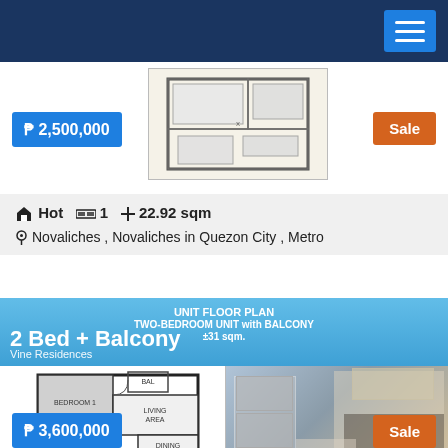Navigation bar with hamburger menu
₱ 2,500,000
[Figure (illustration): Studio unit floor plan diagram]
Sale
Hot  1  22.92 sqm
Novaliches , Novaliches in Quezon City , Metro
2 Bed + Balcony
UNIT FLOOR PLAN
TWO-BEDROOM UNIT with BALCONY
±31 sqm.
Vine Residences
[Figure (illustration): 2 bedroom unit floor plan and interior photo collage]
₱ 3,600,000
Sale